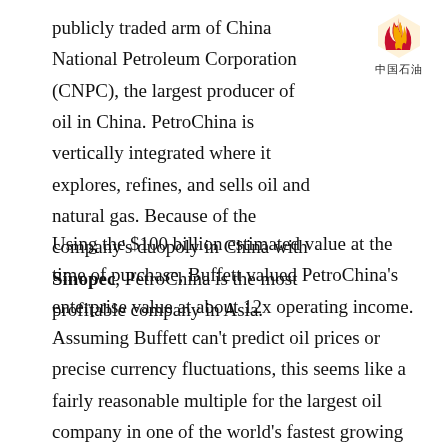[Figure (logo): PetroChina logo: red and yellow flame/shield emblem above Chinese characters 中国石油]
publicly traded arm of China National Petroleum Corporation (CNPC), the largest producer of oil in China. PetroChina is vertically integrated where it explores, refines, and sells oil and natural gas. Because of the company's duopoly in China with Sinopec, PetroChina is the most profitable company in Asia.
Using the $100 billion estimated value at the time of purchase, Buffett valued PetroChina's enterprise value at about 12x operating income. Assuming Buffett can't predict oil prices or precise currency fluctuations, this seems like a fairly reasonable multiple for the largest oil company in one of the world's fastest growing economies.